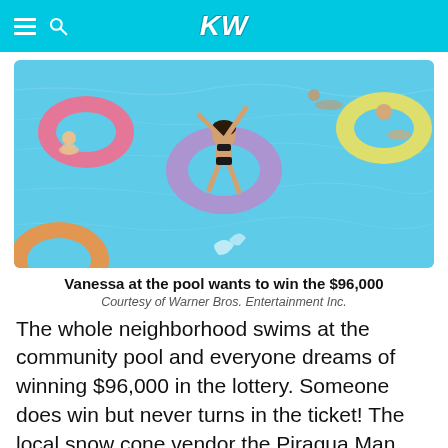KW
[Figure (photo): Aerial view of people floating on colorful inner tubes (pink, purple, yellow, orange) in a bright blue community pool. A woman in a black bikini sits on a purple ring with arms raised.]
Vanessa at the pool wants to win the $96,000
Courtesy of Warner Bros. Entertainment Inc.
The whole neighborhood swims at the community pool and everyone dreams of winning $96,000 in the lottery. Someone does win but never turns in the ticket! The local snow cone vendor the Piragua Man (Lin-Manuel Miranda) has to keep his business